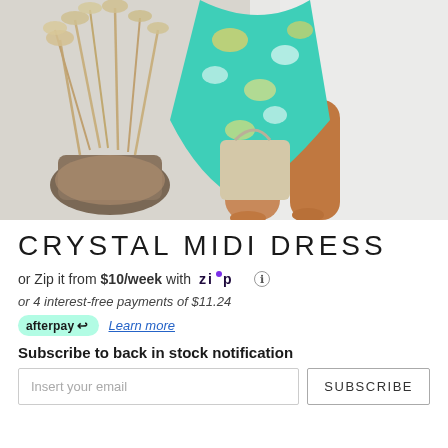[Figure (photo): Woman wearing a teal/turquoise floral midi dress, shown from waist down, standing next to a basket with dried pampas grass. White background.]
CRYSTAL MIDI DRESS
or Zip it from $10/week with Zip ℹ
or 4 interest-free payments of $11.24
afterpay  Learn more
Subscribe to back in stock notification
Insert your email
SUBSCRIBE